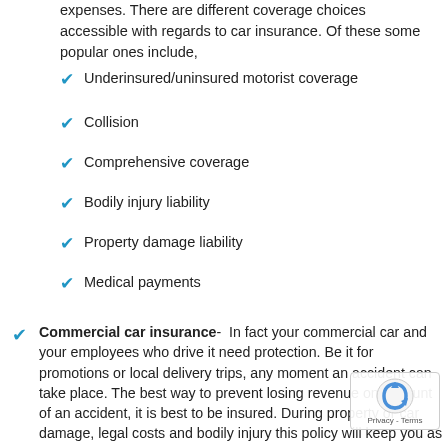expenses. There are different coverage choices accessible with regards to car insurance. Of these some popular ones include,
Underinsured/uninsured motorist coverage
Collision
Comprehensive coverage
Bodily injury liability
Property damage liability
Medical payments
Commercial car insurance- In fact your commercial car and your employees who drive it need protection. Be it for promotions or local delivery trips, any moment an accident can take place. The best way to prevent losing revenue on account of an accident, it is best to be insured. During property or car damage, legal costs and bodily injury this policy will keep you as well as your business coveredNo matter you need a commercial or personal coverage, we will have you covered. Such insurance is a crucial financial decision that will help stay protected against significant financial losses. We cannot predict about accidents, but can at least be prepared. Hurry and make the most of our insurance